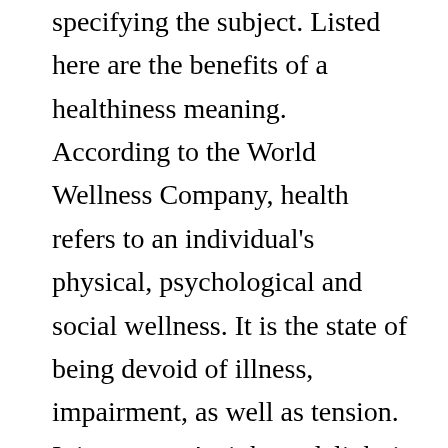specifying the subject. Listed here are the benefits of a healthiness meaning.
According to the World Wellness Company, health refers to an individual's physical, psychological and social wellness. It is the state of being devoid of illness, impairment, as well as tension. It is a person's right to delight in a high standard of health and wellness, which is the basis for peace. While wellness relies on the full cooperation of an individual, it is an usual worry that unequal